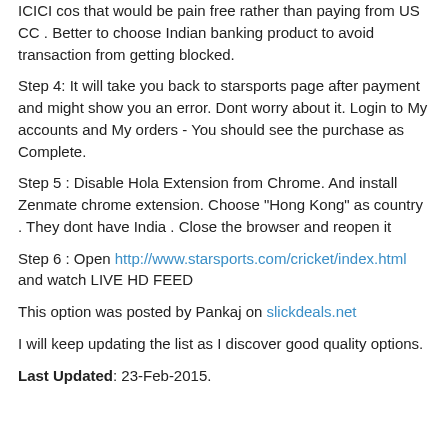ICICI cos that would be pain free rather than paying from US CC . Better to choose Indian banking product to avoid transaction from getting blocked.
Step 4: It will take you back to starsports page after payment and might show you an error. Dont worry about it. Login to My accounts and My orders - You should see the purchase as Complete.
Step 5 : Disable Hola Extension from Chrome. And install Zenmate chrome extension. Choose "Hong Kong" as country . They dont have India . Close the browser and reopen it
Step 6 : Open http://www.starsports.com/cricket/index.html and watch LIVE HD FEED
This option was posted by Pankaj on slickdeals.net
I will keep updating the list as I discover good quality options.
Last Updated: 23-Feb-2015.